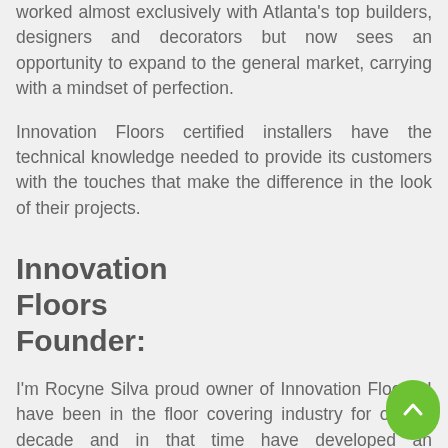worked almost exclusively with Atlanta's top builders, designers and decorators but now sees an opportunity to expand to the general market, carrying with a mindset of perfection.
Innovation Floors certified installers have the technical knowledge needed to provide its customers with the touches that make the difference in the look of their projects.
Innovation Floors Founder:
I'm Rocyne Silva proud owner of Innovation Floors. I have been in the floor covering industry for over a decade and in that time have developed an understanding it not only technical aspects of flooring and its installation but also providing my customers with value. I started as a